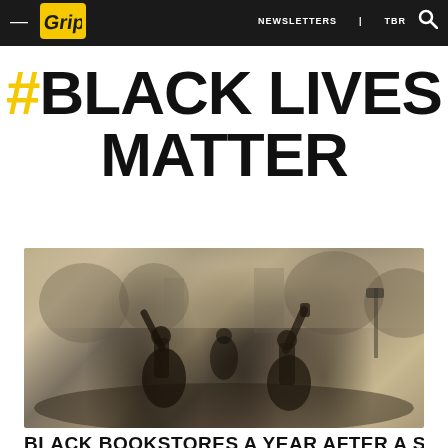NEWSLETTERS | TBR | [search icon]
#BLACK LIVES MATTER
[Figure (photo): Outdoor protest scene showing people kneeling in the street with raised fists, crowd in background, trees and urban setting visible]
BLACK BOOKSTORES A YEAR AFTER A SUMMER